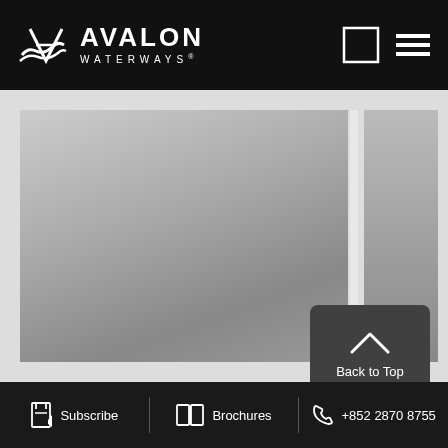AVALON WATERWAYS
[Figure (screenshot): Avalon Waterways website screenshot showing a main image area with gradient grey placeholder content and a sidebar, with a Back to Top button overlay]
Subscribe  Brochures  +852 2870 8755